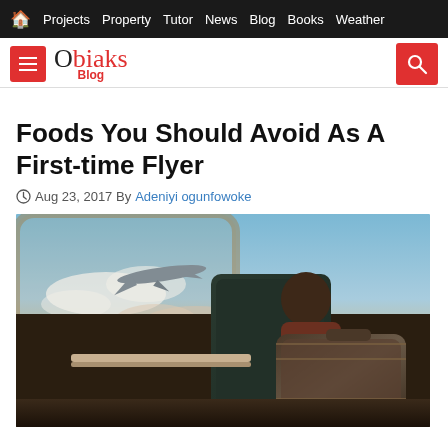🏠 Projects  Property  Tutor  News  Blog  Books  Weather
[Figure (logo): Obiaks Blog logo with red menu button and red search button]
Foods You Should Avoid As A First-time Flyer
Aug 23, 2017 By Adeniyi ogunfowoke
[Figure (photo): A person sitting in an airplane seat looking out the window at another aircraft flying in the sky, with luggage on the adjacent seat]